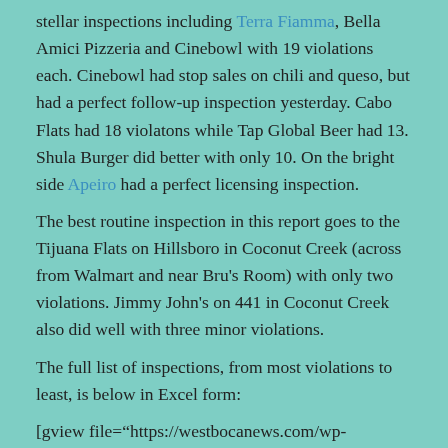stellar inspections including Terra Fiamma, Bella Amici Pizzeria and Cinebowl with 19 violations each. Cinebowl had stop sales on chili and queso, but had a perfect follow-up inspection yesterday. Cabo Flats had 18 violatons while Tap Global Beer had 13. Shula Burger did better with only 10. On the bright side Apeiro had a perfect licensing inspection.
The best routine inspection in this report goes to the Tijuana Flats on Hillsboro in Coconut Creek (across from Walmart and near Bru's Room) with only two violations. Jimmy John's on 441 in Coconut Creek also did well with three minor violations.
The full list of inspections, from most violations to least, is below in Excel form:
[gview file="https://westbocanews.com/wp-content/uploads/2015/03/nearboca-early-2015.xls"]